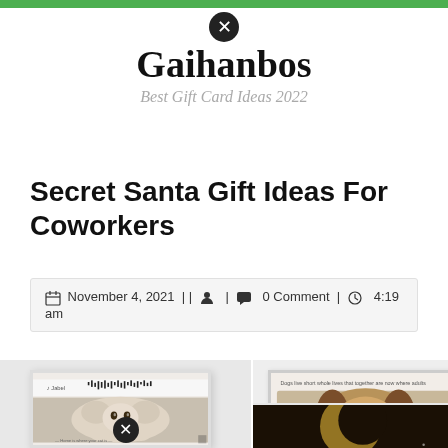Gaihanbos — Best Gift Card Ideas 2022
Secret Santa Gift Ideas For Coworkers
November 4, 2021 | | 🔒 | 💬 0 Comment | 🕐 4:19 am
[Figure (photo): Two framed prints side by side featuring pet photos with sound wave designs. Left frame shows a kitten with a sound wave bar and text. Right top frame shows a Cavalier King Charles Spaniel with a sound wave bar.]